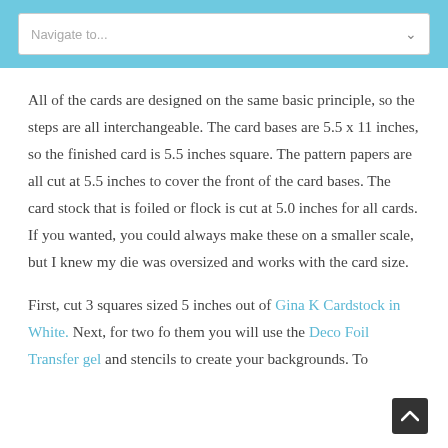Navigate to...
All of the cards are designed on the same basic principle, so the steps are all interchangeable. The card bases are 5.5 x 11 inches, so the finished card is 5.5 inches square. The pattern papers are all cut at 5.5 inches to cover the front of the card bases. The card stock that is foiled or flock is cut at 5.0 inches for all cards. If you wanted, you could always make these on a smaller scale, but I knew my die was oversized and works with the card size.
First, cut 3 squares sized 5 inches out of Gina K Cardstock in White. Next, for two fo them you will use the Deco Foil Transfer gel and stencils to create your backgrounds. To